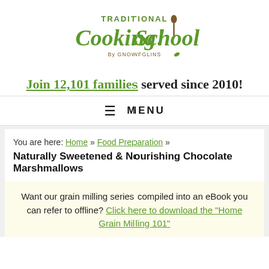[Figure (logo): Traditional Cooking School by GNOWFGLINS logo with green script text and a spoon graphic]
Join 12,101 families served since 2010!
≡ MENU
You are here: Home » Food Preparation » Naturally Sweetened & Nourishing Chocolate Marshmallows
Want our grain milling series compiled into an eBook you can refer to offline? Click here to download the "Home Grain Milling 101"